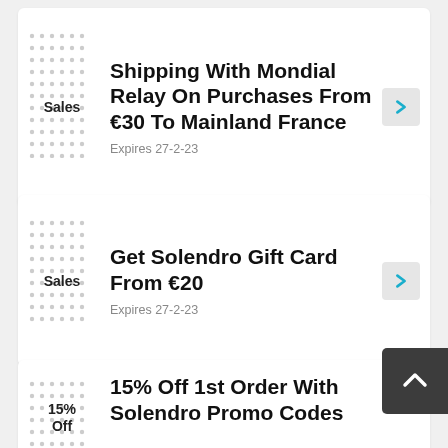Shipping With Mondial Relay On Purchases From €30 To Mainland France
Sales
Expires 27-2-23
Get Solendro Gift Card From €20
Sales
Expires 27-2-23
15% Off 1st Order With Solendro Promo Codes
15% Off